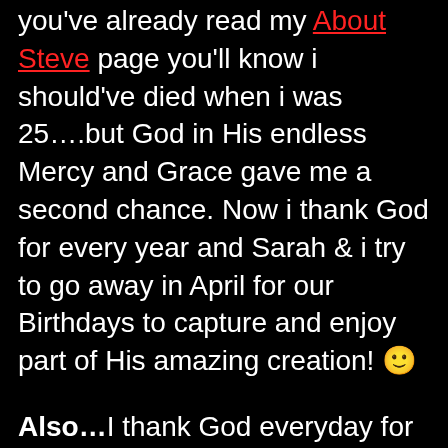you've already read my About Steve page you'll know i should've died when i was 25….but God in His endless Mercy and Grace gave me a second chance. Now i thank God for every year and Sarah & i try to go away in April for our Birthdays to capture and enjoy part of His amazing creation! 🙂
Also…I thank God everyday for Sarah as i know i don't deserve her, but God never seems to stop expressing His love. My heart overflows with love for her. She has encouraged, inspired and loves me in spite of all my faults, she is the sunshine that warms me along my journey. I really don't have the words to fully express how